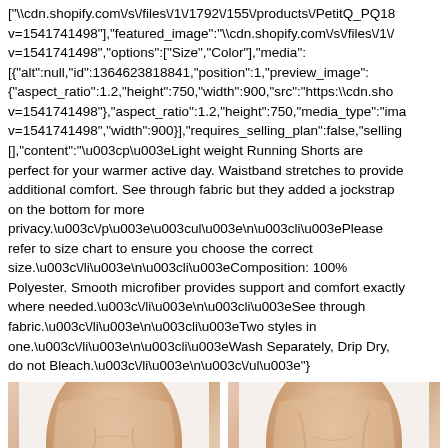["\\cdn.shopify.com\/s\/files\/1\/1792\/155\/products\/PetitQ_PQ18... v=1541741498"],"featured_image":"\\cdn.shopify.com\/s\/files\/1\/... v=1541741498","options":["Size","Color"],"media": [{"alt":null,"id":1364623818841,"position":1,"preview_image": {"aspect_ratio":1.2,"height":750,"width":900,"src":"https:\\cdn.sho... v=1541741498"},"aspect_ratio":1.2,"height":750,"media_type":"ima... v=1541741498","width":900}],"requires_selling_plan":false,"selling... [],"content":"\u003cp\u003eLight weight Running Shorts are perfect for your warmer active day. Waistband stretches to provide additional comfort. See through fabric but they added a jockstrap on the bottom for more privacy.\u003c\/p\u003e\u003cul\u003e\n\u003cli\u003ePlease refer to size chart to ensure you choose the correct size.\u003c\/li\u003e\n\u003cli\u003eComposition: 100% Polyester. Smooth microfiber provides support and comfort exactly where needed.\u003c\/li\u003e\n\u003cli\u003eSee through fabric.\u003c\/li\u003e\n\u003cli\u003eTwo styles in one.\u003c\/li\u003e\n\u003cli\u003eWash Separately, Drip Dry, do not Bleach.\u003c\/li\u003e\n\u003c\/ul\u003e"}
[Figure (photo): Two side-by-side photos of a male torso/abdomen against a white background, showing the midsection area.]